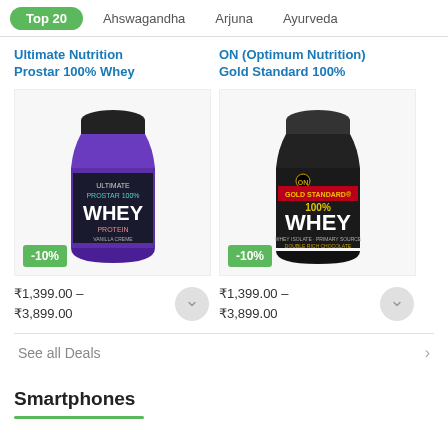Top 20  Ahswagandha  Arjuna  Ayurveda
Ultimate Nutrition Prostar 100% Whey
[Figure (photo): Product photo of Ultimate Nutrition Prostar 100% Whey protein tub (purple/black label) with -10% discount badge]
₹1,399.00 – ₹3,899.00
ON (Optimum Nutrition) Gold Standard 100%
[Figure (photo): Product photo of ON Gold Standard 100% Whey protein tub (black/red label) with -10% discount badge]
₹1,399.00 – ₹3,899.00
See all Deals
Smartphones